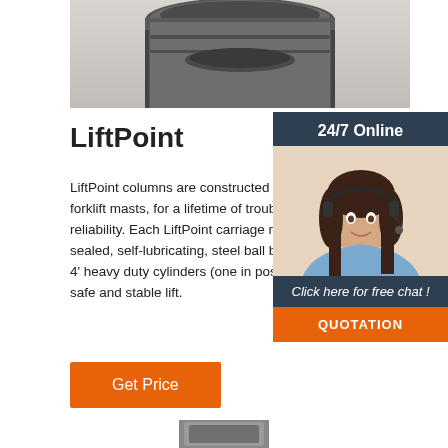[Figure (photo): Top portion of a metallic industrial component (forklift/lift column part), cropped at top]
[Figure (photo): 24/7 Online chat widget panel with photo of smiling woman with headset, 'Click here for free chat!' text, and orange QUOTATION button]
LiftPoint
LiftPoint columns are constructed of 3/4' th forklift masts, for a lifetime of trouble-free s and reliability. Each LiftPoint carriage rolls double-sealed, self-lubricating, steel ball b rollers. Two 4' heavy duty cylinders (one in post) make for a safe and stable lift.
[Figure (other): Orange 'Get Price' button]
[Figure (photo): Bottom of page showing partial view of another metallic component]